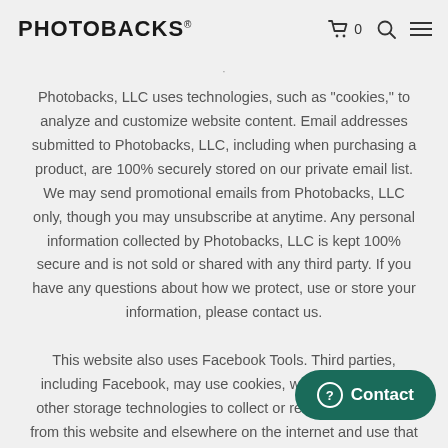PHOTOBACKS®  🛒 0  🔍  ☰
Photobacks, LLC uses technologies, such as "cookies," to analyze and customize website content. Email addresses submitted to Photobacks, LLC, including when purchasing a product, are 100% securely stored on our private email list. We may send promotional emails from Photobacks, LLC only, though you may unsubscribe at anytime. Any personal information collected by Photobacks, LLC is kept 100% secure and is not sold or shared with any third party. If you have any questions about how we protect, use or store your information, please contact us.
This website also uses Facebook Tools. Third parties, including Facebook, may use cookies, web beacons, and other storage technologies to collect or receive information from this website and elsewhere on the internet and use that information to provide measurement services and target ads. You can opt-out of the collection and use of